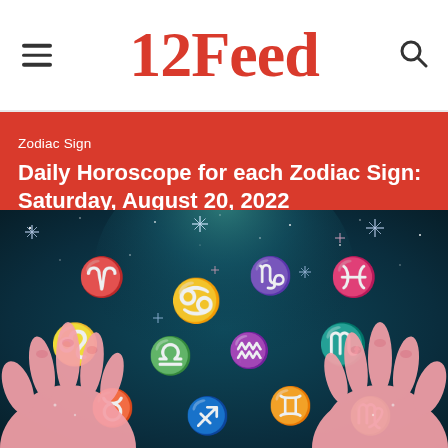12Feed
Zodiac Sign
Daily Horoscope for each Zodiac Sign: Saturday, August 20, 2022
[Figure (illustration): Illustration of two hands holding up a dark teal night sky with zodiac symbols: Aries, Cancer, Capricorn, Pisces, Leo, Libra, Aquarius, Scorpio, Taurus, Sagittarius, Gemini, Virgo, surrounded by stars and sparkles]